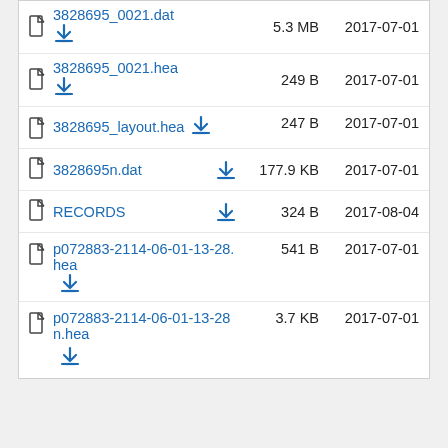| Name |  | Size | Date |
| --- | --- | --- | --- |
| 3828695_0021.dat | ⬇ | 5.3 MB | 2017-07-01 |
| 3828695_0021.hea | ⬇ | 249 B | 2017-07-01 |
| 3828695_layout.hea | ⬇ | 247 B | 2017-07-01 |
| 3828695n.dat | ⬇ | 177.9 KB | 2017-07-01 |
| RECORDS | ⬇ | 324 B | 2017-08-04 |
| p072883-2114-06-01-13-28.hea | ⬇ | 541 B | 2017-07-01 |
| p072883-2114-06-01-13-28n.hea | ⬇ | 3.7 KB | 2017-07-01 |